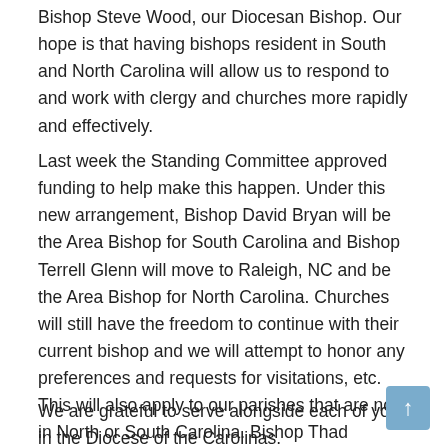Bishop Steve Wood, our Diocesan Bishop. Our hope is that having bishops resident in South and North Carolina will allow us to respond to and work with clergy and churches more rapidly and effectively.
Last week the Standing Committee approved funding to help make this happen. Under this new arrangement, Bishop David Bryan will be the Area Bishop for South Carolina and Bishop Terrell Glenn will move to Raleigh, NC and be the Area Bishop for North Carolina. Churches will still have the freedom to continue with their current bishop and we will attempt to honor any preferences and requests for visitations, etc. This will also apply to our parishes that are not in North or South Carolina. Bishop Thad Barnum will continue his work in Soul Care for all of our clergy.
We are grateful to serve alongside each of you in the Diocese of the Carolinas.